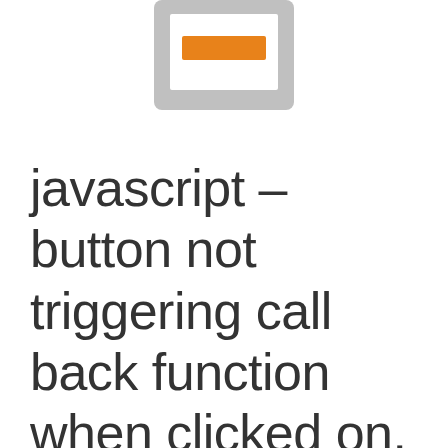[Figure (illustration): A UI button icon: a grey rounded rectangle containing a white rectangle with an orange horizontal bar inside it]
javascript – button not triggering call back function when clicked on. No way to know